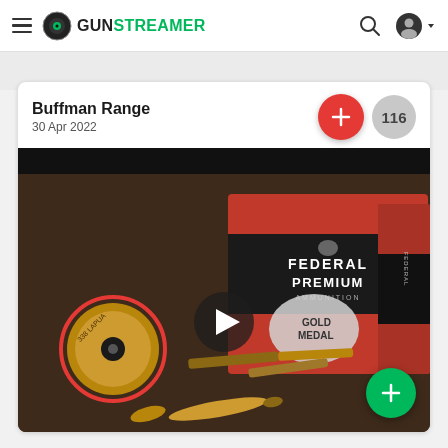GUNSTREAMER
Buffman Range
30 Apr 2022
[Figure (screenshot): Video thumbnail showing Federal Premium ammunition boxes (Gold Medal) with rifle cartridges/bullets on a surface. A bullet casing base is visible with red circle highlight, and a large rifle bullet in the foreground.]